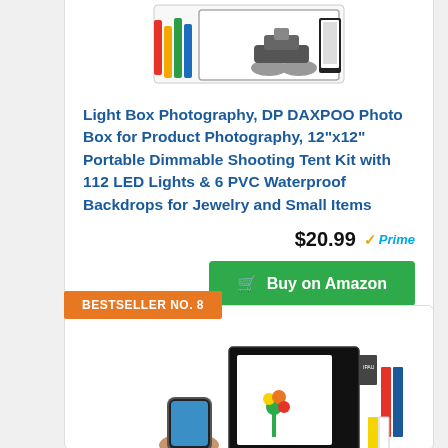[Figure (photo): Product photo of a light box photography kit showing a motorcycle inside a white light tent with colorful backdrops]
Light Box Photography, DP DAXPOO Photo Box for Product Photography, 12"x12" Portable Dimmable Shooting Tent Kit with 112 LED Lights & 6 PVC Waterproof Backdrops for Jewelry and Small Items
$20.99 Prime
Buy on Amazon
BESTSELLER NO. 8
[Figure (photo): Product photo of a IPAU photo studio light box with colored backdrops and a flower arrangement inside]